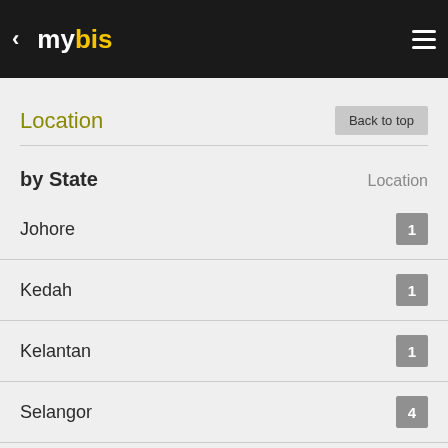< mybis ≡
Location
by State  Location
Johore 1
Kedah 1
Kelantan 1
Selangor 4
Terengganu 2